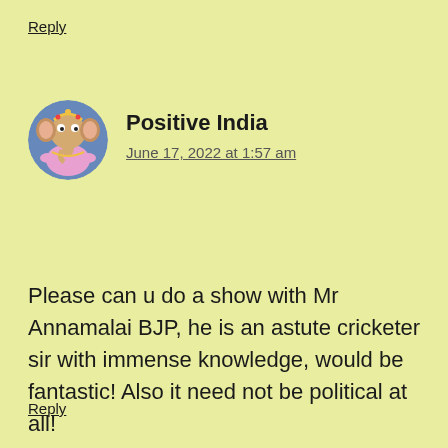Reply
[Figure (illustration): Circular avatar image of a Ganesha (elephant deity) illustration with colorful decorative styling]
Positive India
June 17, 2022 at 1:57 am
Please can u do a show with Mr Annamalai BJP, he is an astute cricketer sir with immense knowledge, would be fantastic! Also it need not be political at all!
Reply